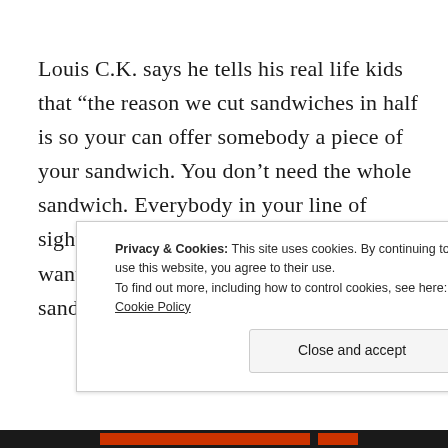Louis C.K. says he tells his real life kids that “the reason we cut sandwiches in half is so your can offer somebody a piece of your sandwich. You don’t need the whole sandwich. Everybody in your line of sight, your offer it to them and if nobody wants it, then hey, you get a whole sandwich..”
Privacy & Cookies: This site uses cookies. By continuing to use this website, you agree to their use.
To find out more, including how to control cookies, see here: Cookie Policy
Close and accept